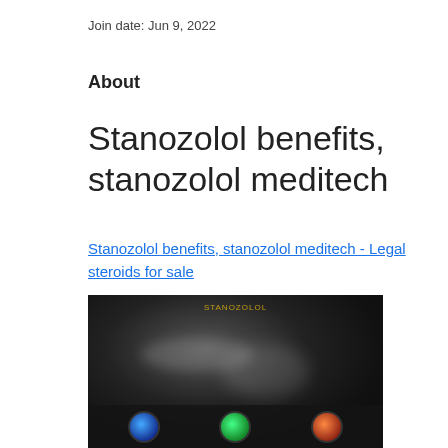Join date: Jun 9, 2022
About
Stanozolol benefits, stanozolol meditech
Stanozolol benefits, stanozolol meditech - Legal steroids for sale
[Figure (photo): A dark blurred image showing indistinct shapes and figures, with colorful circular icons at the bottom]